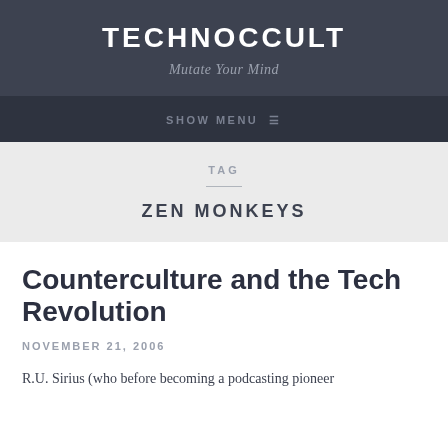TECHNOCCULT
Mutate Your Mind
SHOW MENU ≡
TAG
ZEN MONKEYS
Counterculture and the Tech Revolution
NOVEMBER 21, 2006
R.U. Sirius (who before becoming a podcasting pioneer